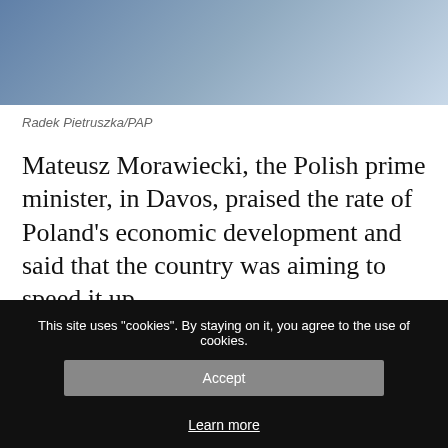[Figure (photo): Person standing at a podium/lectern, appears to be giving a speech. Photo credit: Radek Pietruszka/PAP]
Radek Pietruszka/PAP
Mateusz Morawiecki, the Polish prime minister, in Davos, praised the rate of Poland's economic development and said that the country was aiming to speed it up.
"Poland is a developed economy and we still have an appetite for further growth... and we are
This site uses "cookies". By staying on it, you agree to the use of cookies.
Accept
Learn more